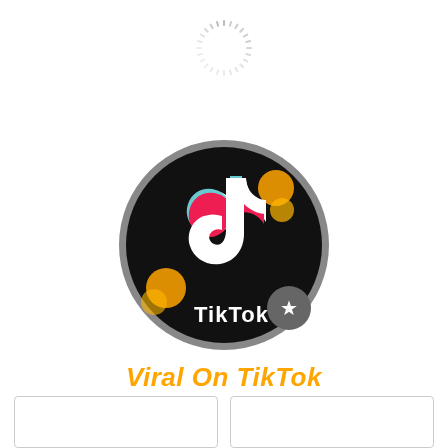[Figure (illustration): A spinning/loading indicator circle made of small dashes arranged in a circular pattern, light gray color, near the top center of the page.]
[Figure (logo): TikTok app logo inside a dark circle with gray border. The logo shows the TikTok musical note icon in white, cyan, and red/pink on a black background, with orange bokeh light effects. A gray badge with a white star appears at the bottom right of the circle. Text 'TikTok' in white appears at the bottom of the circle.]
Viral On TikTok